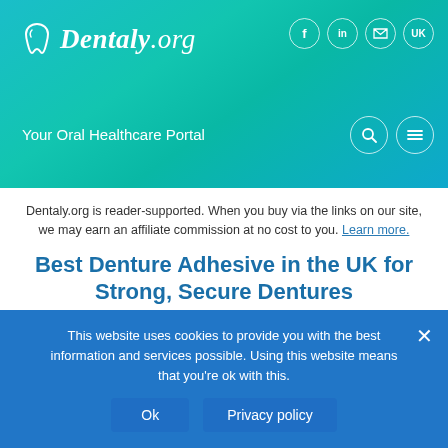Dentaly.org — Your Oral Healthcare Portal
Dentaly.org is reader-supported. When you buy via the links on our site, we may earn an affiliate commission at no cost to you. Learn more.
Best Denture Adhesive in the UK for Strong, Secure Dentures
Contributors: Amanda Napitu
Published: 12 January 2021
This website uses cookies to provide you with the best information and services possible. Using this website means that you're ok with this.